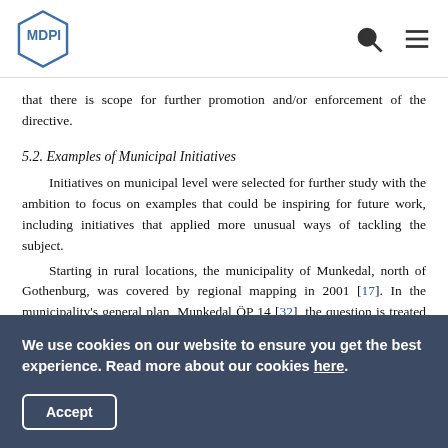MDPI logo with search and menu icons
that there is scope for further promotion and/or enforcement of the directive.
5.2. Examples of Municipal Initiatives
Initiatives on municipal level were selected for further study with the ambition to focus on examples that could be inspiring for future work, including initiatives that applied more unusual ways of tackling the subject.
Starting in rural locations, the municipality of Munkedal, north of Gothenburg, was covered by regional mapping in 2001 [17]. In the municipality's general plan, Munkedal ÖP 14 [32], the question is treated on a more detailed level and two quiet
We use cookies on our website to ensure you get the best experience. Read more about our cookies here.
Accept